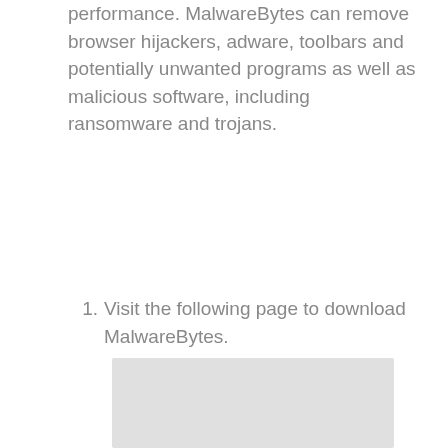performance. MalwareBytes can remove browser hijackers, adware, toolbars and potentially unwanted programs as well as malicious software, including ransomware and trojans.
Visit the following page to download MalwareBytes.
[Figure (screenshot): A light gray placeholder box representing a screenshot image.]